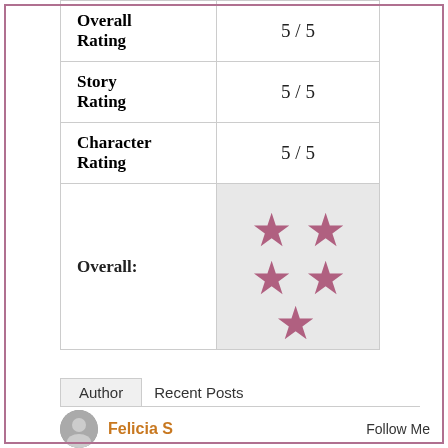|  |  |
| --- | --- |
| Overall Rating | 5 / 5 |
| Story Rating | 5 / 5 |
| Character Rating | 5 / 5 |
| Overall: | ★★★★★ |
Author   Recent Posts
Felicia S
Follow Me